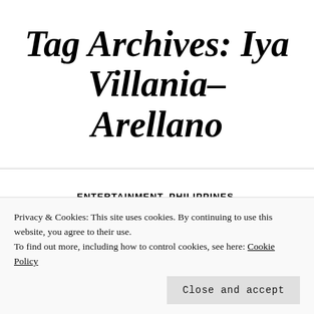Tag Archives: Iya Villania-Arellano
ENTERTAINMENT, PHILIPPINES, REALITY SHOW, TALENT SHOW
Lib, Syne Battle
Privacy & Cookies: This site uses cookies. By continuing to use this website, you agree to their use.
To find out more, including how to control cookies, see here: Cookie Policy
Close and accept